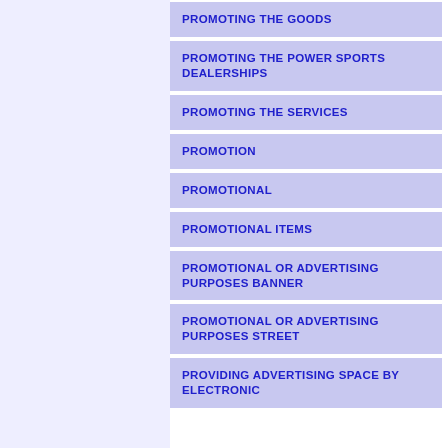PROMOTING THE GOODS
PROMOTING THE POWER SPORTS DEALERSHIPS
PROMOTING THE SERVICES
PROMOTION
PROMOTIONAL
PROMOTIONAL ITEMS
PROMOTIONAL OR ADVERTISING PURPOSES BANNER
PROMOTIONAL OR ADVERTISING PURPOSES STREET
PROVIDING ADVERTISING SPACE BY ELECTRONIC